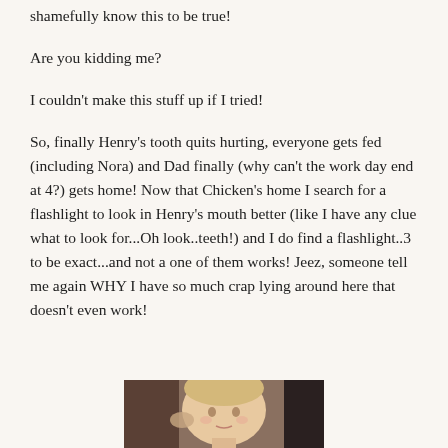shamefully know this to be true!
Are you kidding me?
I couldn't make this stuff up if I tried!
So, finally Henry's tooth quits hurting, everyone gets fed (including Nora) and Dad finally (why can't the work day end at 4?) gets home! Now that Chicken's home I search for a flashlight to look in Henry's mouth better (like I have any clue what to look for...Oh look..teeth!) and I do find a flashlight..3 to be exact...and not a one of them works! Jeez, someone tell me again WHY I have so much crap lying around here that doesn't even work!
[Figure (photo): Photo of a young child (Henry), partially visible at bottom of page, appears to show a toddler/baby being examined or held.]